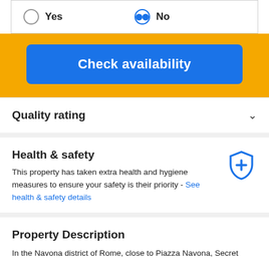Yes / No (radio buttons)
Check availability
Quality rating
Health & safety
This property has taken extra health and hygiene measures to ensure your safety is their priority - See health & safety details
Property Description
In the Navona district of Rome, close to Piazza Navona, Secret